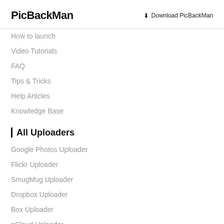PicBackMan
How to launch
Video Tutorials
FAQ
Tips & Tricks
Help Articles
Knowledge Base
All Uploaders
Google Photos Uploader
Flickr Uploader
SmugMug Uploader
Dropbox Uploader
Box Uploader
pCloud Uploader
OneDrive Uploader
YouTube Uploader